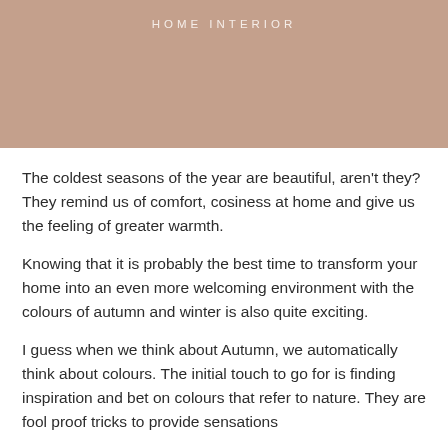[Figure (photo): Hero image placeholder in warm taupe/brown tone with 'HOME INTERIOR' text overlay at top]
The coldest seasons of the year are beautiful, aren't they? They remind us of comfort, cosiness at home and give us the feeling of greater warmth.
Knowing that it is probably the best time to transform your home into an even more welcoming environment with the colours of autumn and winter is also quite exciting.
I guess when we think about Autumn, we automatically think about colours. The initial touch to go for is finding inspiration and bet on colours that refer to nature. They are fool proof tricks to provide sensations